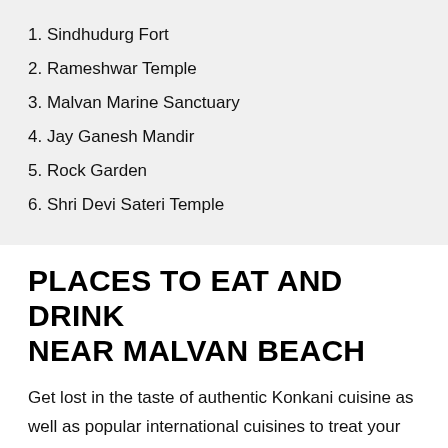1. Sindhudurg Fort
2. Rameshwar Temple
3. Malvan Marine Sanctuary
4. Jay Ganesh Mandir
5. Rock Garden
6. Shri Devi Sateri Temple
PLACES TO EAT AND DRINK NEAR MALVAN BEACH
Get lost in the taste of authentic Konkani cuisine as well as popular international cuisines to treat your palates while in the town of Malvan. These are the following places near Malvan beach you can eat and drink.